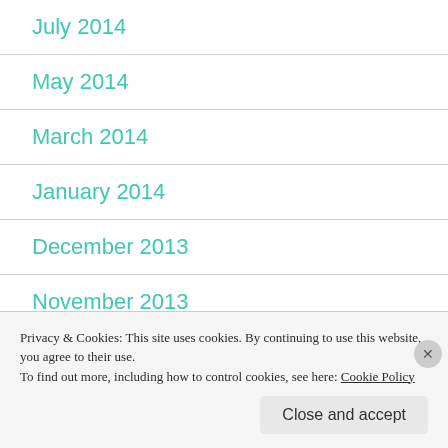July 2014
May 2014
March 2014
January 2014
December 2013
November 2013
Privacy & Cookies: This site uses cookies. By continuing to use this website, you agree to their use.
To find out more, including how to control cookies, see here: Cookie Policy
Close and accept